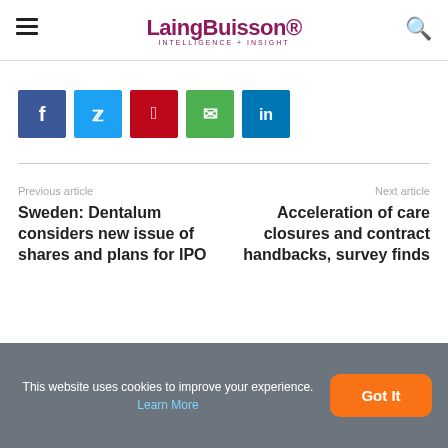LaingBuisson INTELLIGENCE + INSIGHT
[Figure (other): Social sharing buttons: Facebook (blue), Twitter (light blue), Pinterest (red), WhatsApp (green), LinkedIn (dark blue)]
Previous article
Next article
Sweden: Dentalum considers new issue of shares and plans for IPO
Acceleration of care closures and contract handbacks, survey finds
This website uses cookies to improve your experience. Learn More  Got It